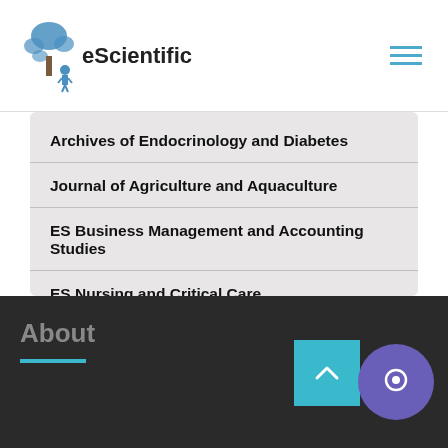eScientific
Archives of Endocrinology and Diabetes
Journal of Agriculture and Aquaculture
ES Business Management and Accounting Studies
ES Nursing and Critical Care
About